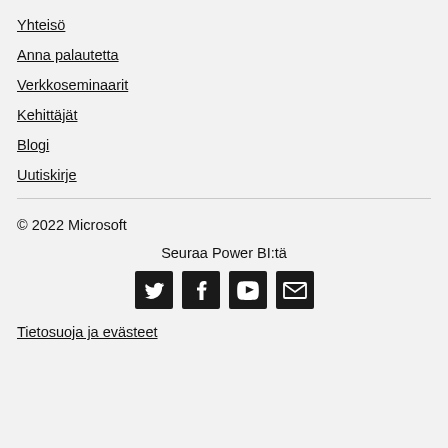Yhteisö
Anna palautetta
Verkkoseminaarit
Kehittäjät
Blogi
Uutiskirje
© 2022 Microsoft
Seuraa Power BI:tä
[Figure (infographic): Social media icons: Twitter, Facebook, YouTube, Email]
Tietosuoja ja evästeet